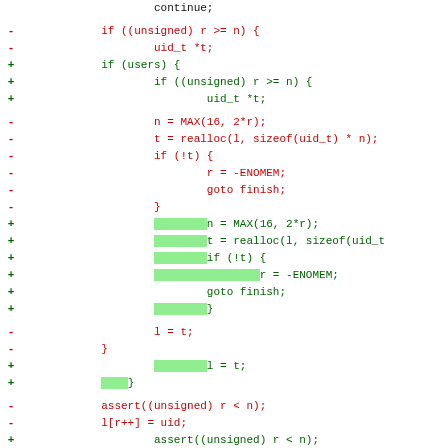[Figure (screenshot): A unified diff view showing code changes. Removed lines (red, prefixed with -) show the old code, added lines (green, prefixed with +) show the new code. Highlighted green rectangles indicate newly added code segments. The diff involves refactoring user array reallocation logic.]